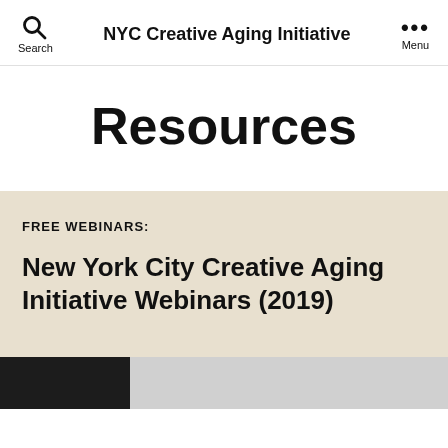NYC Creative Aging Initiative
Resources
FREE WEBINARS:
New York City Creative Aging Initiative Webinars (2019)
[Figure (screenshot): Bottom portion of a webpage screenshot showing a dark thumbnail image strip at the bottom of the page.]